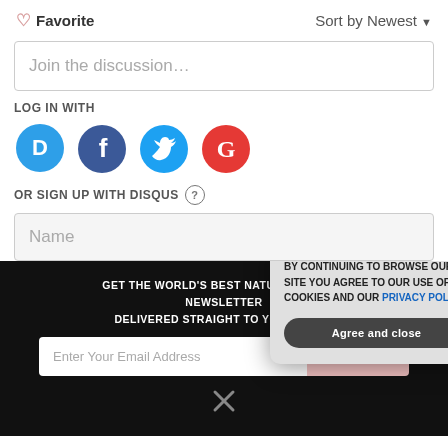♡ Favorite
Sort by Newest ▾
Join the discussion…
LOG IN WITH
[Figure (illustration): Four social login icon circles: Disqus (D, blue), Facebook (f, dark blue), Twitter (bird, light blue), Google (G, red)]
OR SIGN UP WITH DISQUS ?
Name
GET THE WORLD'S BEST NATURAL HEALTH NEWSLETTER DELIVERED STRAIGHT TO YOUR INBOX
Enter Your Email Address
SUBSCRIBE
BY CONTINUING TO BROWSE OUR SITE YOU AGREE TO OUR USE OF COOKIES AND OUR PRIVACY POLICY.
Agree and close